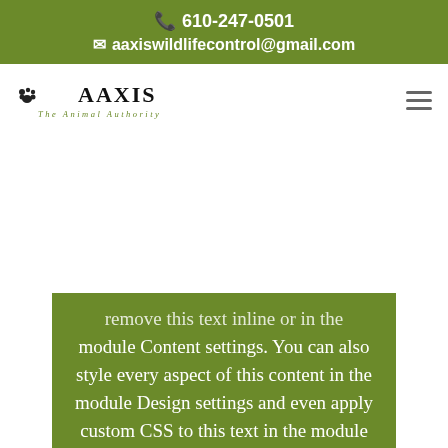📞 610-247-0501
✉ aaxiswildlifecontrol@gmail.com
[Figure (logo): Aaxis The Animal Authority logo with paw print icon]
remove this text inline or in the module Content settings. You can also style every aspect of this content in the module Design settings and even apply custom CSS to this text in the module Advanced settings.
Request a Consultation